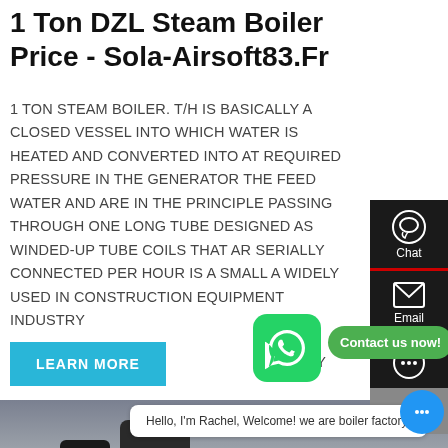1 Ton DZL Steam Boiler Price - Sola-Airsoft83.Fr
1 TON STEAM BOILER. T/H IS BASICALLY A CLOSED VESSEL INTO WHICH WATER IS HEATED AND CONVERTED INTO AT REQUIRED PRESSURE IN THE GENERATOR THE FEED WATER AND ARE IN THE PRINCIPLE PASSING THROUGH ONE LONG TUBE DESIGNED AS WINDED-UP TUBE COILS THAT ARE SERIALLY CONNECTED PER HOUR IS A SMALL AND WIDELY USED IN CONSTRUCTION EQUIPMENT INDUSTRY
LEARN MORE
[Figure (screenshot): Website screenshot showing Chat and Email sidebar icons on dark background, WhatsApp contact button overlay, industrial steam boiler factory photo, chat bubble saying Hello I'm Rachel Welcome! we are boiler factory!]